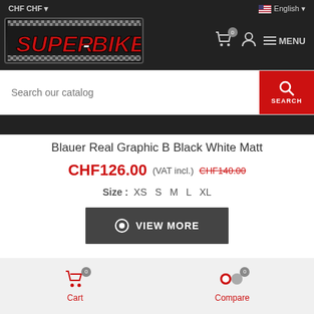CHF CHF  English  SUPER-BIKE  0  MENU
[Figure (logo): Super-Bike logo in red italic text on dark background with checkered border pattern]
Search our catalog
Blauer Real Graphic B Black White Matt
CHF126.00 (VAT incl.) CHF140.00
Size : XS  S  M  L  XL
VIEW MORE
Cart 0  Compare 0